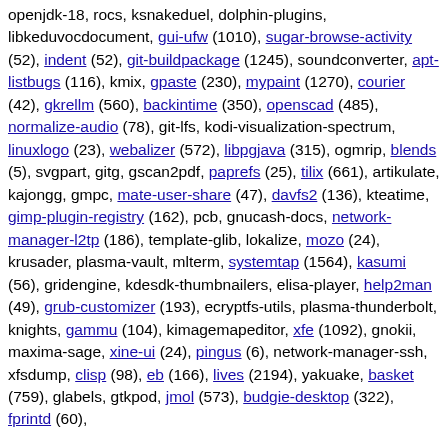openjdk-18, rocs, ksnakeduel, dolphin-plugins, libkeduvocdocument, gui-ufw (1010), sugar-browse-activity (52), indent (52), git-buildpackage (1245), soundconverter, apt-listbugs (116), kmix, gpaste (230), mypaint (1270), courier (42), gkrellm (560), backintime (350), openscad (485), normalize-audio (78), git-lfs, kodi-visualization-spectrum, linuxlogo (23), webalizer (572), libpgjava (315), ogmrip, blends (5), svgpart, gitg, gscan2pdf, paprefs (25), tilix (661), artikulate, kajongg, gmpc, mate-user-share (47), davfs2 (136), kteatime, gimp-plugin-registry (162), pcb, gnucash-docs, network-manager-l2tp (186), template-glib, lokalize, mozo (24), krusader, plasma-vault, mlterm, systemtap (1564), kasumi (56), gridengine, kdesdk-thumbnailers, elisa-player, help2man (49), grub-customizer (193), ecryptfs-utils, plasma-thunderbolt, knights, gammu (104), kimagemapeditor, xfe (1092), gnokii, maxima-sage, xine-ui (24), pingus (6), network-manager-ssh, xfsdump, clisp (98), eb (166), lives (2194), yakuake, basket (759), glabels, gtkpod, jmol (573), budgie-desktop (322), fprintd (60),